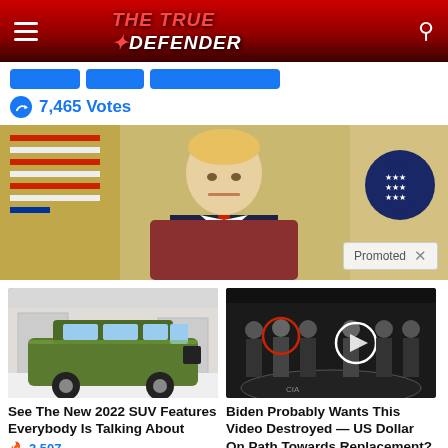THE TRUE DEFENDER
7,465 Votes
[Figure (photo): Photo of Donald Trump seated at the Resolute Desk in the Oval Office, wearing a dark suit and red tie, with American flags in the background. A 'Promoted' badge appears in the lower right corner.]
[Figure (photo): Photo of a green 2022 SUV (large Kia Telluride-style vehicle) shown from the side against a building background.]
See The New 2022 SUV Features Everybody Is Talking About
2,507
[Figure (photo): Group of people in dark suits standing in a line, with red and white circles highlighting two individuals; a play button icon is visible, suggesting a video thumbnail. CIA logo visible on the floor.]
Biden Probably Wants This Video Destroyed — US Dollar On Path Towards Replacement?
440,472